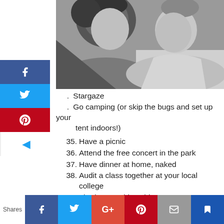[Figure (photo): Black and white photo of a couple close together, faces nearly touching, in an intimate pose.]
. Stargaze
. Go camping (or skip the bugs and set up your tent indoors!)
35. Have a picnic
36. Attend the free concert in the park
37. Have dinner at home, naked
38. Audit a class together at your local college
39. Tie-dye matching shirts
40. Ride the bus for the entire route